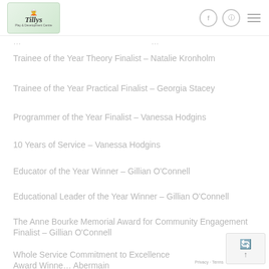Tillys Play & Development Centre — navigation header
[partial/cut-off text at top]
Trainee of the Year Theory Finalist – Natalie Kronholm
Trainee of the Year Practical Finalist – Georgia Stacey
Programmer of the Year Finalist – Vanessa Hodgins
10 Years of Service – Vanessa Hodgins
Educator of the Year Winner – Gillian O'Connell
Educational Leader of the Year Winner – Gillian O'Connell
The Anne Bourke Memorial Award for Community Engagement Finalist – Gillian O'Connell
Whole Service Commitment to Excellence Award Winner – Abermain